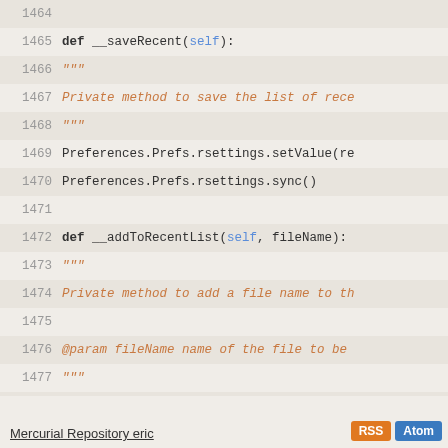[Figure (screenshot): Source code viewer showing Python code lines 1464-1486 with line numbers, syntax highlighting (keywords in bold, self/parameters in blue, docstrings in orange italic), alternating row background shading.]
Mercurial Repository eric  RSS  Atom